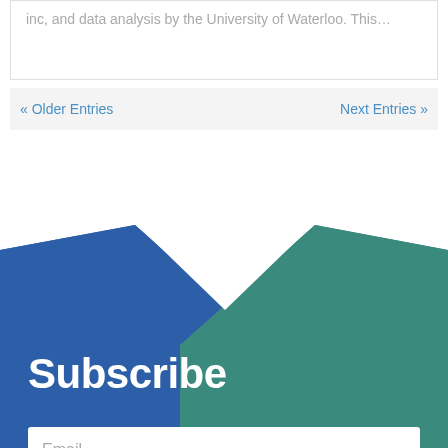inc, and data analysis by the University of Waterloo. This…
« Older Entries   Next Entries »
[Figure (illustration): Blue and teal geometric chevron/mountain shapes forming a decorative background banner for the Subscribe section]
Subscribe
Email